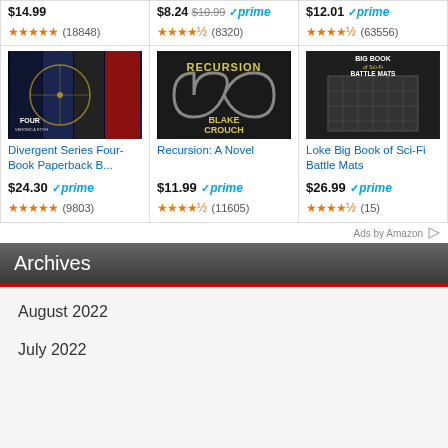[Figure (photo): Top product row showing prices and star ratings: $14.99 with 4.5 stars (18848 reviews), $8.24 (was $10.99) Prime with 4 stars (8320 reviews), $12.01 Prime with 4.5 stars (63556 reviews)]
[Figure (photo): Divergent Series Four-Book Paperback B... book cover - dark blue with Ferris wheel imagery]
Divergent Series Four-Book Paperback B...
$24.30 prime (9803 reviews) 5 stars
[Figure (photo): Recursion: A Novel book cover - dark background with infinity symbol]
Recursion: A Novel
$11.99 prime (11605 reviews) 4.5 stars
[Figure (photo): Loke Big Book of Sci-Fi Battle Mats cover - dark gray/black with grid mat imagery]
Loke Big Book of Sci-Fi Battle Mats
$26.99 prime (15 reviews) 4.5 stars
Ads by Amazon
Archives
August 2022
July 2022